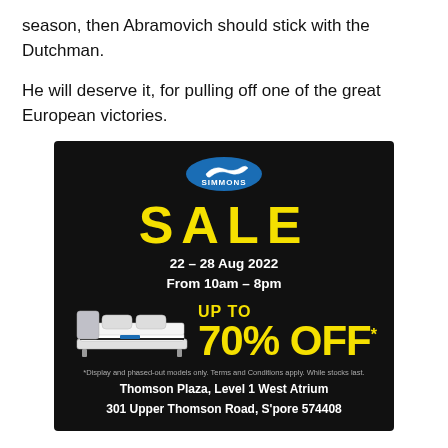season, then Abramovich should stick with the Dutchman.
He will deserve it, for pulling off one of the great European victories.
[Figure (infographic): Simmons mattress sale advertisement on black background. Shows Simmons logo, large yellow SALE text, dates 22–28 Aug 2022, From 10am–8pm, image of a mattress/bed, UP TO 70% OFF* in yellow, disclaimer text, and venue: Thomson Plaza, Level 1 West Atrium, 301 Upper Thomson Road, S'pore 574408.]
But it is highly improbable, and after the 0-0 draw with